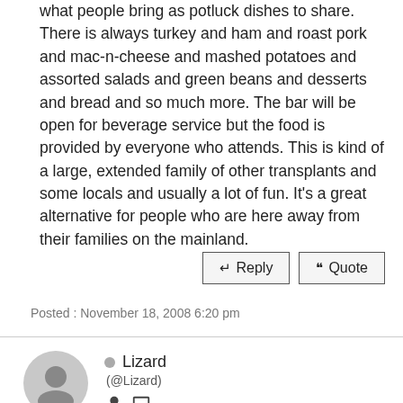what people bring as potluck dishes to share. There is always turkey and ham and roast pork and mac-n-cheese and mashed potatoes and assorted salads and green beans and desserts and bread and so much more. The bar will be open for beverage service but the food is provided by everyone who attends. This is kind of a large, extended family of other transplants and some locals and usually a lot of fun. It's a great alternative for people who are here away from their families on the mainland.
Posted : November 18, 2008 6:20 pm
Lizard (@Lizard)